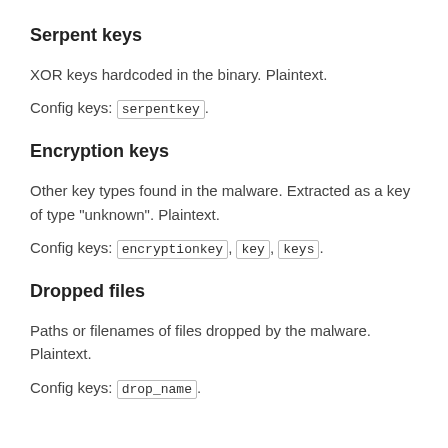Serpent keys
XOR keys hardcoded in the binary. Plaintext.
Config keys: serpentkey.
Encryption keys
Other key types found in the malware. Extracted as a key of type "unknown". Plaintext.
Config keys: encryptionkey, key, keys.
Dropped files
Paths or filenames of files dropped by the malware. Plaintext.
Config keys: drop_name.